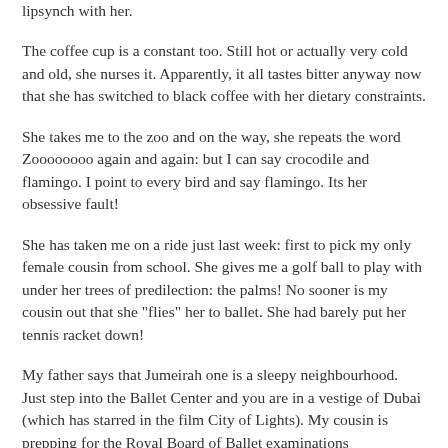lipsynch with her.
The coffee cup is a constant too. Still hot or actually very cold and old, she nurses it. Apparently, it all tastes bitter anyway now that she has switched to black coffee with her dietary constraints.
She takes me to the zoo and on the way, she repeats the word Zoooooooo again and again: but I can say crocodile and flamingo. I point to every bird and say flamingo. Its her obsessive fault!
She has taken me on a ride just last week: first to pick my only female cousin from school. She gives me a golf ball to play with under her trees of predilection: the palms! No sooner is my cousin out that she "flies" her to ballet. She had barely put her tennis racket down!
My father says that Jumeirah one is a sleepy neighbourhood. Just step into the Ballet Center and you are in a vestige of Dubai (which has starred in the film City of Lights). My cousin is prepping for the Royal Board of Ballet examinations